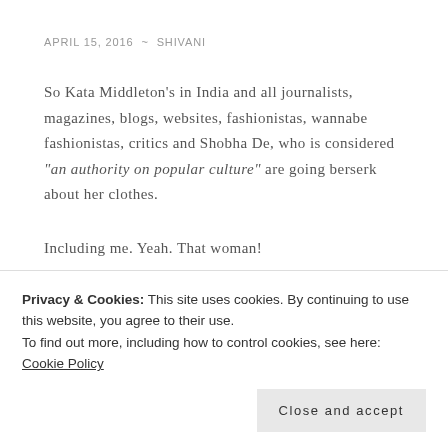APRIL 15, 2016 ~ SHIVANI
So Kata Middleton’s in India and all journalists, magazines, blogs, websites, fashionistas, wannabe fashionistas, critics and Shobha De, who is considered “an authority on popular culture” are going berserk about her clothes.
Including me. Yeah. That woman!
So, let me follow the norm, and take you through the
Privacy & Cookies: This site uses cookies. By continuing to use this website, you agree to their use.
To find out more, including how to control cookies, see here: Cookie Policy
Close and accept